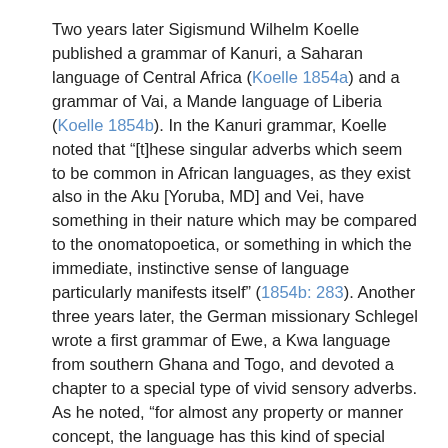Two years later Sigismund Wilhelm Koelle published a grammar of Kanuri, a Saharan language of Central Africa (Koelle 1854a) and a grammar of Vai, a Mande language of Liberia (Koelle 1854b). In the Kanuri grammar, Koelle noted that "[t]hese singular adverbs which seem to be common in African languages, as they exist also in the Aku [Yoruba, MD] and Vei, have something in their nature which may be compared to the onomatopoetica, or something in which the immediate, instinctive sense of language particularly manifests itself" (1854b: 283). Another three years later, the German missionary Schlegel wrote a first grammar of Ewe, a Kwa language from southern Ghana and Togo, and devoted a chapter to a special type of vivid sensory adverbs. As he noted, "for almost any property or manner concept, the language has this kind of special adverb, which is reduplicated to express degree or intensity" (Schlegel 1857: 113).
With the first descriptions of ideophone systems in Yoruba, Vai, Kanuri and Ewe, we may call the 1850s the